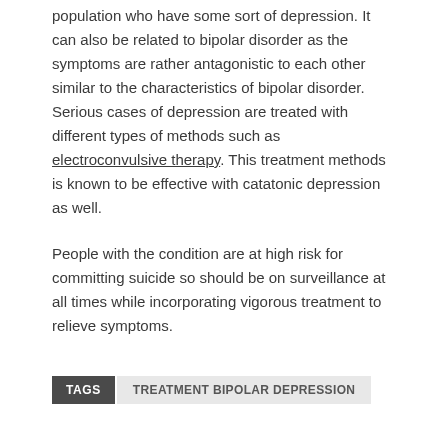population who have some sort of depression. It can also be related to bipolar disorder as the symptoms are rather antagonistic to each other similar to the characteristics of bipolar disorder. Serious cases of depression are treated with different types of methods such as electroconvulsive therapy. This treatment methods is known to be effective with catatonic depression as well.
People with the condition are at high risk for committing suicide so should be on surveillance at all times while incorporating vigorous treatment to relieve symptoms.
TAGS  TREATMENT BIPOLAR DEPRESSION